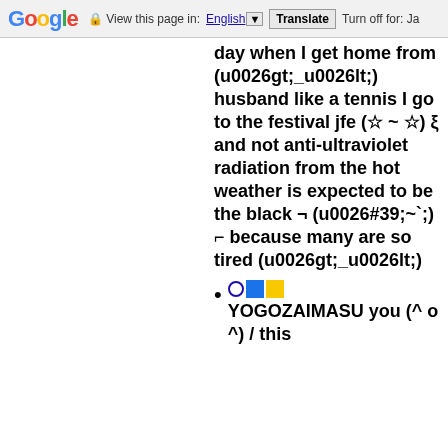Google — View this page in: English ▼  Translate  Turn off for: Ja
day when I get home from (u0026gt;_u0026lt;) husband like a tennis I go to the festival jfe (☆ ~ ☆) ξ and not anti-ultraviolet radiation from the hot weather is expected to be the black ¬ (u0026#39;~`;) ⌐ because many are so tired (u0026gt;_u0026lt;)
○■□ YOGOZAIMASU you (^ o ^) / this